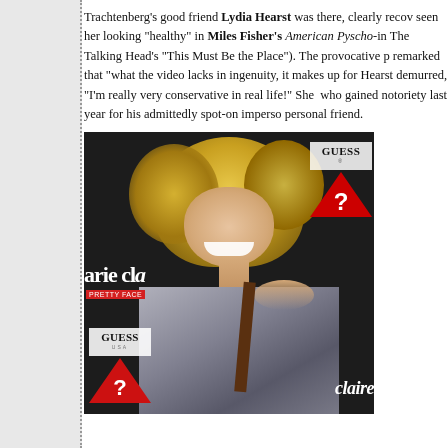Trachtenberg's good friend Lydia Hearst was there, clearly recovering... seen her looking "healthy" in Miles Fisher's American Pyscho-inspired... The Talking Head's "This Must Be the Place"). The provocative p... remarked that "what the video lacks in ingenuity, it makes up for... Hearst demurred, "I'm really very conservative in real life!" She... who gained notoriety last year for his admittedly spot-on imperso... personal friend.
[Figure (photo): A blonde woman in a floral/grey backless dress smiling over her shoulder at a Marie Claire and GUESS event. GUESS triangle logos visible in background.]